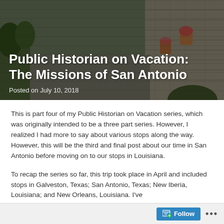Public Historian on Vacation: The Missions of San Antonio
Posted on July 10, 2018
[Figure (photo): Outdoor photograph of stone mission building with courtyard, planters with flowers, and greenery visible in background]
This is part four of my Public Historian on Vacation series, which was originally intended to be a three part series. However, I realized I had more to say about various stops along the way. However, this will be the third and final post about our time in San Antonio before moving on to our stops in Louisiana.
To recap the series so far, this trip took place in April and included stops in Galveston, Texas; San Antonio, Texas; New Iberia, Louisiana; and New Orleans, Louisiana. I've
Follow ...